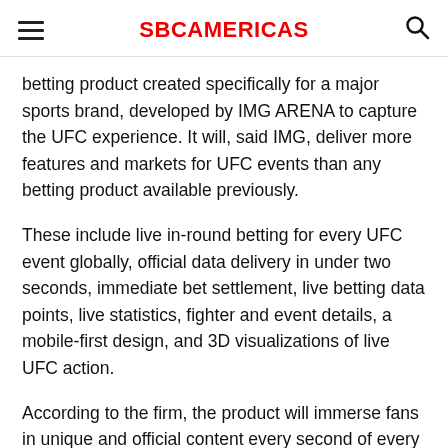SBC AMERICAS
betting product created specifically for a major sports brand, developed by IMG ARENA to capture the UFC experience. It will, said IMG, deliver more features and markets for UFC events than any betting product available previously.
These include live in-round betting for every UFC event globally, official data delivery in under two seconds, immediate bet settlement, live betting data points, live statistics, fighter and event details, a mobile-first design, and 3D visualizations of live UFC action.
According to the firm, the product will immerse fans in unique and official content every second of every round. A wealth of live, time-stamped data points will, it added, open a huge range of new betting opportunities, including reversals,